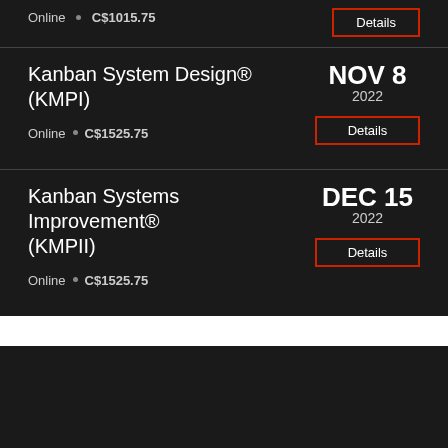Online · C$1015.75
Details
Kanban System Design® (KMPI)
NOV 8 2022
Online · C$1525.75
Details
Kanban Systems Improvement® (KMPII)
DEC 15 2022
Online · C$1525.75
Details
AGILE ADVICE BOOK